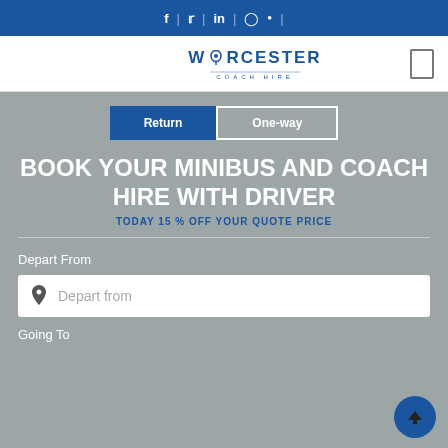f | Twitter | in | Instagram | Pinterest |
[Figure (logo): Worcester Coach Hire logo with location pin icon]
Return | One-way
BOOK YOUR MINIBUS AND COACH HIRE WITH DRIVER
TODAY 15 % OFF YOUR QUOTE PRICE
Depart From
Depart from
Going To